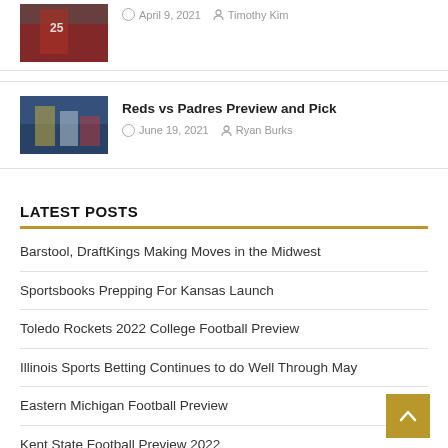[Figure (photo): Baseball player with number 25 jersey, Cardinals game photo]
April 9, 2021  Timothy Kim
[Figure (photo): Baseball players on field, game action photo]
Reds vs Padres Preview and Pick
June 19, 2021  Ryan Burks
LATEST POSTS
Barstool, DraftKings Making Moves in the Midwest
Sportsbooks Prepping For Kansas Launch
Toledo Rockets 2022 College Football Preview
Illinois Sports Betting Continues to do Well Through May
Eastern Michigan Football Preview
Kent State Football Preview 2022